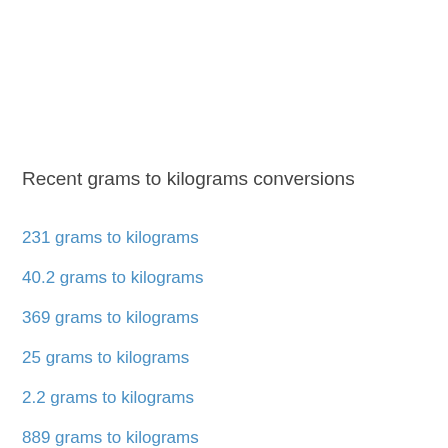Recent grams to kilograms conversions
231 grams to kilograms
40.2 grams to kilograms
369 grams to kilograms
25 grams to kilograms
2.2 grams to kilograms
889 grams to kilograms
46.2 grams to kilograms